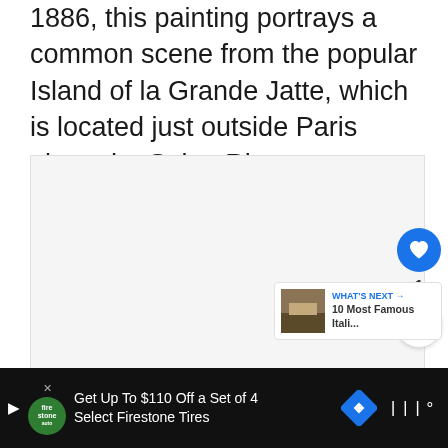1886, this painting portrays a common scene from the popular Island of la Grande Jatte, which is located just outside Paris along the Seine River.
[Figure (other): Image carousel placeholder with three navigation dots at bottom. Social action panel with heart/like button (blue circle), count of 1, and share button visible on the right side. 'What's Next' panel showing thumbnail and text '10 Most Famous Itali...']
Get Up To $110 Off a Set of 4 Select Firestone Tires